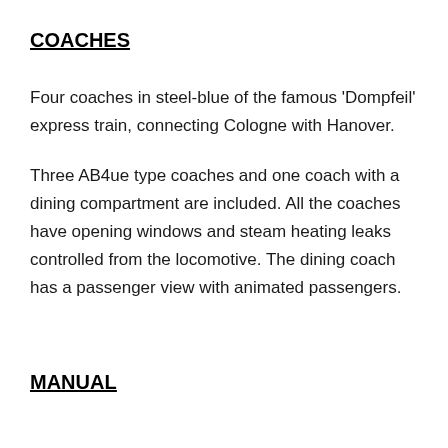COACHES
Four coaches in steel-blue of the famous 'Dompfeil' express train, connecting Cologne with Hanover.
Three AB4ue type coaches and one coach with a dining compartment are included. All the coaches have opening windows and steam heating leaks controlled from the locomotive. The dining coach has a passenger view with animated passengers.
MANUAL